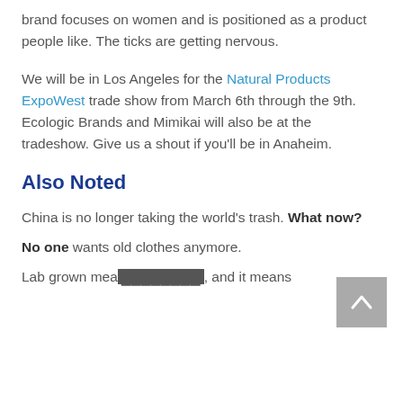brand focuses on women and is positioned as a product people like. The ticks are getting nervous.
We will be in Los Angeles for the Natural Products ExpoWest trade show from March 6th through the 9th. Ecologic Brands and Mimikai will also be at the tradeshow. Give us a shout if you'll be in Anaheim.
Also Noted
China is no longer taking the world's trash. What now?
No one wants old clothes anymore.
Lab grown mea[...], and it means